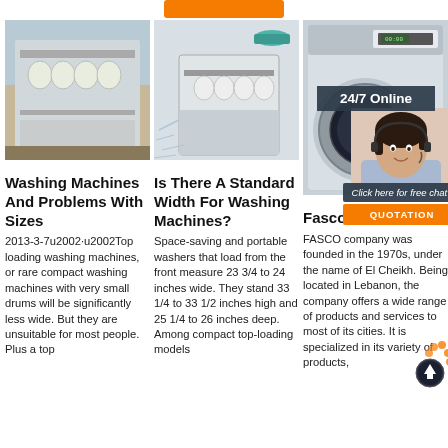[Figure (photo): Open dishwasher with clean dishes loaded inside, modern kitchen background]
Washing Machines And Problems With Sizes
2013-3-7u2002·u2002Top loading washing machines, or rare compact washing machines with very small drums will be significantly less wide. But they are unsuitable for most people. Plus a top
[Figure (photo): Dishwasher with dishes, water splashing around it, light background]
Is There A Standard Width For Washing Machines?
Space-saving and portable washers that load from the front measure 23 3/4 to 24 inches wide. They stand 33 1/4 to 33 1/2 inches high and 25 1/4 to 26 inches deep. Among compact top-loading models
[Figure (photo): Front-loading washing machine, silver/white, modern appliance]
[Figure (infographic): 24/7 Online chat support banner with woman wearing headset, click here for free chat and QUOTATION button overlay]
Fasco
FASCO company was founded in the 1970s, under the name of El Cheikh. Being located in Lebanon, the company offers a wide range of products and services to most of its cities. It is specialized in its variety of products,